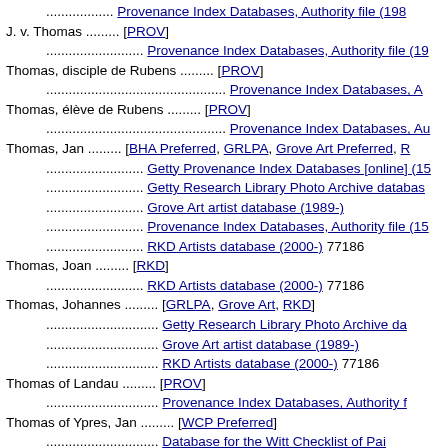.................. Provenance Index Databases, Authority file (1980-
J. v. Thomas ......... [PROV]
.......................... Provenance Index Databases, Authority file (19
Thomas, disciple de Rubens ......... [PROV]
................................................ Provenance Index Databases, A
Thomas, élève de Rubens ......... [PROV]
................................................ Provenance Index Databases, Au
Thomas, Jan ......... [BHA Preferred, GRLPA, Grove Art Preferred, R
.......................... Getty Provenance Index Databases [online] (15
.......................... Getty Research Library Photo Archive databas
.......................... Grove Art artist database (1989-)
.......................... Provenance Index Databases, Authority file (15
.......................... RKD Artists database (2000-) 77186
Thomas, Joan ......... [RKD]
.......................... RKD Artists database (2000-) 77186
Thomas, Johannes ......... [GRLPA, Grove Art, RKD]
.............................. Getty Research Library Photo Archive da
.............................. Grove Art artist database (1989-)
.............................. RKD Artists database (2000-) 77186
Thomas of Landau ......... [PROV]
.............................. Provenance Index Databases, Authority f
Thomas of Ypres, Jan ......... [WCP Preferred]
.............................. Database for the Witt Checklist of Pai
Thomas Of Ypres, Jan ......... [WL-Courtauld]
.............................. Witt Library, Authority files
Thomas of Ypres, Johannes ......... [GRLPA Preferred]
.............................. Database for the Witt Checklist (19